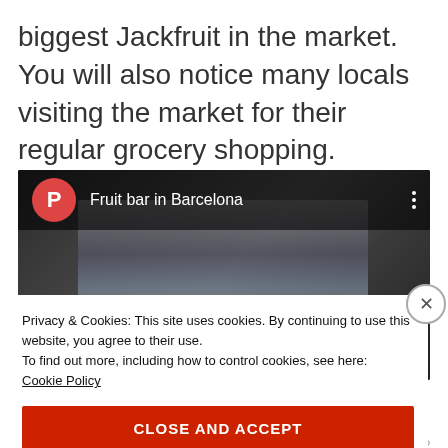biggest Jackfruit in the market. You will also notice many locals visiting the market for their regular grocery shopping.
[Figure (screenshot): Embedded video player showing 'Fruit bar in Barcelona' with a red circle P avatar, dark market crowd background, and three-dot menu icon.]
Privacy & Cookies: This site uses cookies. By continuing to use this website, you agree to their use.
To find out more, including how to control cookies, see here: Cookie Policy
CLOSE AND ACCEPT